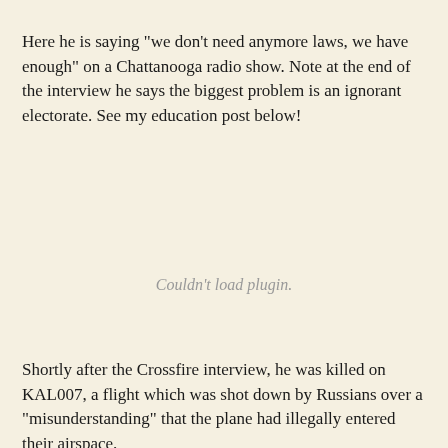Here he is saying "we don't need anymore laws, we have enough" on a Chattanooga radio show. Note at the end of the interview he says the biggest problem is an ignorant electorate. See my education post below!
[Figure (other): Embedded media plugin placeholder showing 'Couldn't load plugin.' message]
Shortly after the Crossfire interview, he was killed on KAL007, a flight which was shot down by Russians over a "misunderstanding" that the plane had illegally entered their airspace.